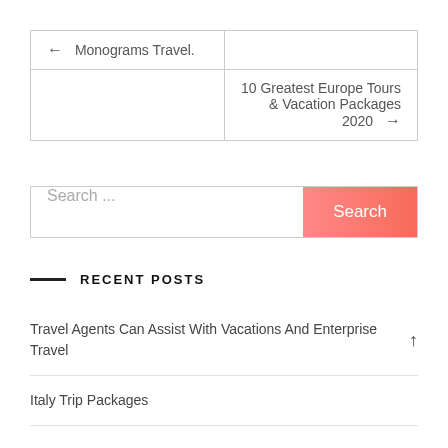| ← Monograms Travel. |  |
|  | 10 Greatest Europe Tours & Vacation Packages 2020 → |
Search ...
RECENT POSTS
Travel Agents Can Assist With Vacations And Enterprise Travel
Italy Trip Packages